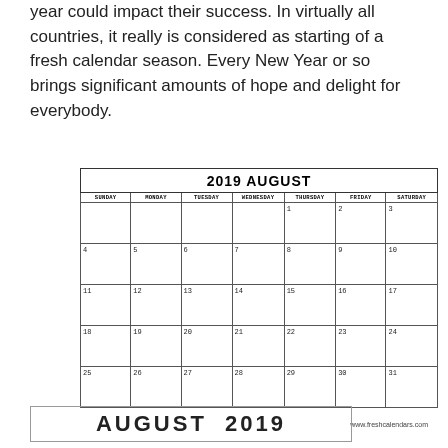year could impact their success. In virtually all countries, it really is considered as starting of a fresh calendar season. Every New Year or so brings significant amounts of hope and delight for everybody.
| SUNDAY | MONDAY | TUESDAY | WEDNESDAY | THURSDAY | FRIDAY | SATURDAY |
| --- | --- | --- | --- | --- | --- | --- |
|  |  |  |  | 1 | 2 | 3 |
| 4 | 5 | 6 | 7 | 8 | 9 | 10 |
| 11 | 12 | 13 | 14 | 15 | 16 | 17 |
| 18 | 19 | 20 | 21 | 22 | 23 | 24 |
| 25 | 26 | 27 | 28 | 29 | 30 | 31 |
www.freshcalendars.com
AUGUST  2019